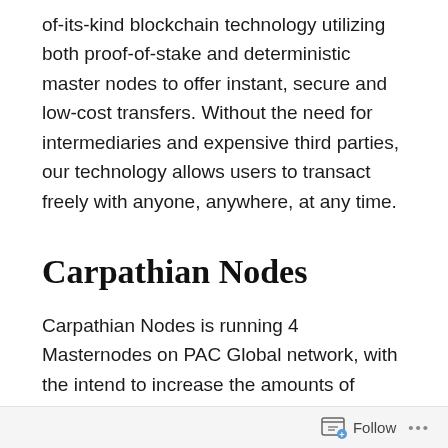of-its-kind blockchain technology utilizing both proof-of-stake and deterministic master nodes to offer instant, secure and low-cost transfers. Without the need for intermediaries and expensive third parties, our technology allows users to transact freely with anyone, anywhere, at any time.
Carpathian Nodes
Carpathian Nodes is running 4 Masternodes on PAC Global network, with the intend to increase the amounts of Masternodes run further. We are offering Flexible staking
Follow ···